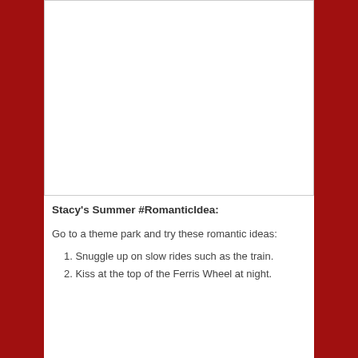[Figure (photo): Large image placeholder area at the top of the page, white/blank space within a bordered rectangle]
Stacy's Summer #RomanticIdea:
Go to a theme park and try these romantic ideas:
1. Snuggle up on slow rides such as the train.
2. Kiss at the top of the Ferris Wheel at night.